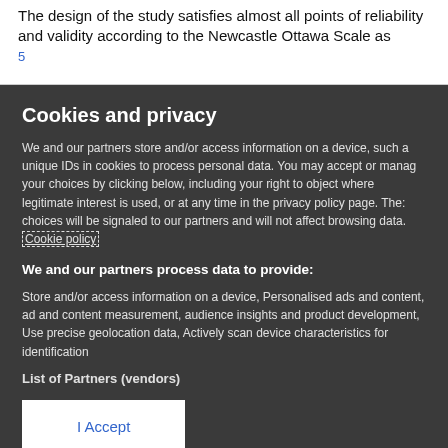The design of the study satisfies almost all points of reliability and validity according to the Newcastle Ottawa Scale as
Cookies and privacy
We and our partners store and/or access information on a device, such as unique IDs in cookies to process personal data. You may accept or manage your choices by clicking below, including your right to object where legitimate interest is used, or at any time in the privacy policy page. These choices will be signaled to our partners and will not affect browsing data. Cookie policy
We and our partners process data to provide:
Store and/or access information on a device, Personalised ads and content, ad and content measurement, audience insights and product development, Use precise geolocation data, Actively scan device characteristics for identification
List of Partners (vendors)
I Accept